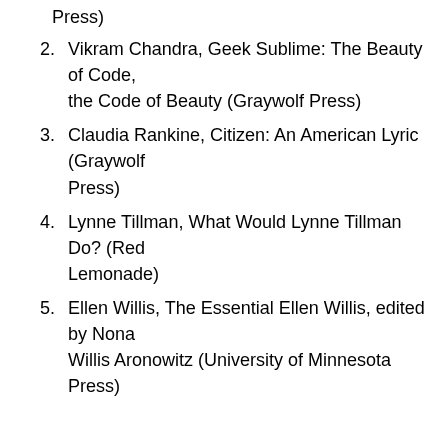Press)
2. Vikram Chandra, Geek Sublime: The Beauty of Code, the Code of Beauty (Graywolf Press)
3. Claudia Rankine, Citizen: An American Lyric (Graywolf Press)
4. Lynne Tillman, What Would Lynne Tillman Do? (Red Lemonade)
5. Ellen Willis, The Essential Ellen Willis, edited by Nona Willis Aronowitz (University of Minnesota Press)
FICTION
1. Rabih Alameddine, An Unnecessary Woman (Grove Press)
2. Marlon James, A Brief History of Seven Killings